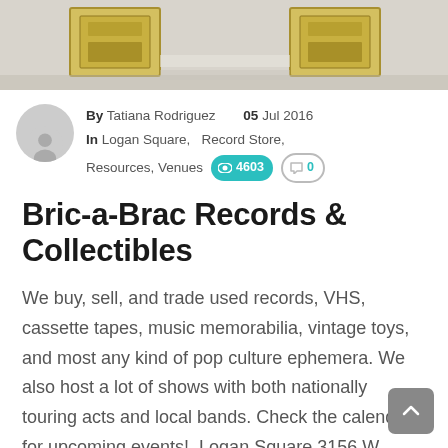[Figure (photo): Partial photo of mechanical/industrial equipment (possibly parking meters or machines), gold/yellow colored, viewed from above on a street surface.]
By Tatiana Rodriguez
In Logan Square,   05 Jul 2016
Record Store,
Resources, Venues   👁 4603   💬 0
Bric-a-Brac Records & Collectibles
We buy, sell, and trade used records, VHS, cassette tapes, music memorabilia, vintage toys, and most any kind of pop culture ephemera. We also host a lot of shows with both nationally touring acts and local bands. Check the calendar for upcoming events!  Logan Square 3156 W